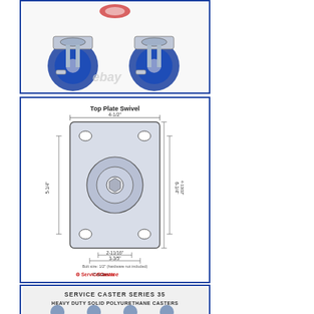[Figure (photo): Two blue solid polyurethane swivel casters with brakes shown side by side. Both have metallic top plates and blue wheels. An eBay watermark is visible in the lower center of the image.]
[Figure (engineering-diagram): Technical engineering diagram of a Top Plate Swivel caster mounting plate. Shows top-down view of a rectangular steel plate with four mounting holes at corners and a central swivel ring. Dimensions labeled: 4-1/2 inch width, 6-1/4 inch height, 4-13/32 height inner, 5-1/4 side, 2-11/16 and 3-3/5 bottom dimensions. Bolt size: 1/2 inch hardware not included. Service Caster logo at bottom.]
[Figure (photo): Partial view of a Service Caster Series 35 Heavy Duty Solid Polyurethane Casters product image banner showing multiple caster styles.]